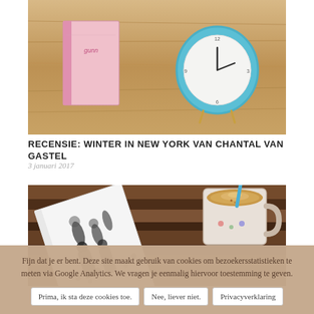[Figure (photo): Photo of a book and a teal alarm clock on a wooden surface]
RECENSIE: WINTER IN NEW YORK VAN CHANTAL VAN GASTEL
3 januari 2017
[Figure (photo): Photo of a black and white book with illustrated cover and a cup of coffee/latte on a wooden surface]
Fijn dat je er bent. Deze site maakt gebruik van cookies om bezoekersstatistieken te meten via Google Analytics. We vragen je eenmalig hiervoor toestemming te geven.
Prima, ik sta deze cookies toe.
Nee, liever niet.
Privacyverklaring